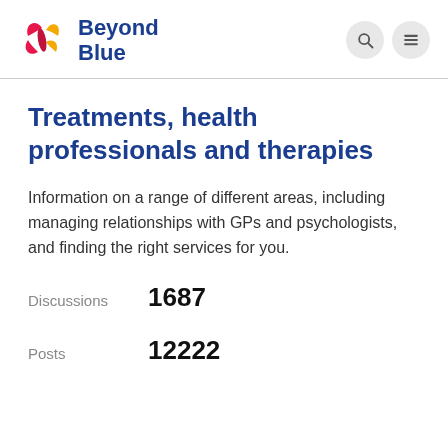Beyond Blue
Treatments, health professionals and therapies
Information on a range of different areas, including managing relationships with GPs and psychologists, and finding the right services for you.
Discussions  1687
Posts  12222